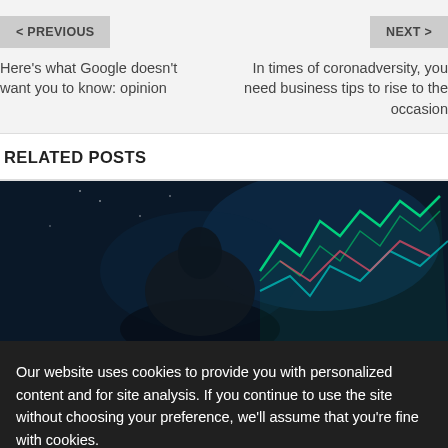< PREVIOUS
Here's what Google doesn't want you to know: opinion
NEXT >
In times of coronadversity, you need business tips to rise to the occasion
RELATED POSTS
[Figure (photo): Dark image of a person looking at colorful financial charts/graphs with green and red lines on a dark background]
Our website uses cookies to provide you with personalized content and for site analysis. If you continue to use the site without choosing your preference, we'll assume that you're fine with cookies.
I ACCEPT